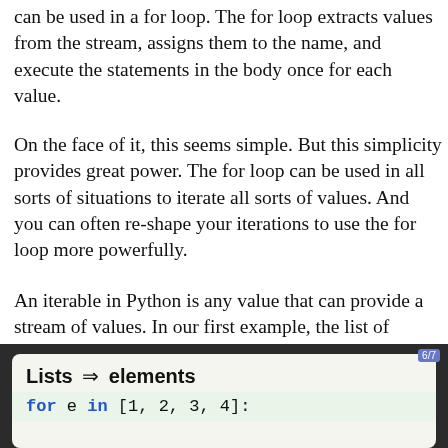can be used in a for loop. The for loop extracts values from the stream, assigns them to the name, and execute the statements in the body once for each value.
On the face of it, this seems simple. But this simplicity provides great power. The for loop can be used in all sorts of situations to iterate all sorts of values. And you can often re-shape your iterations to use the for loop more powerfully.
An iterable in Python is any value that can provide a stream of values. In our first example, the list of numbers was the iterable, but there are lots of other examples.
[Figure (screenshot): Code panel with dark background showing a card titled 'Lists → elements' with a green-highlighted code line: for e in [1, 2, 3, 4]:]